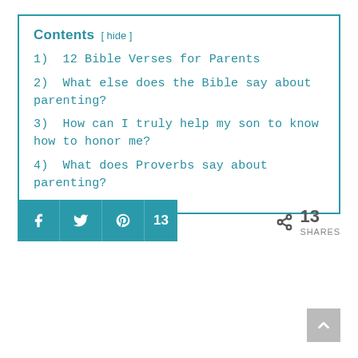Contents [ hide ]
1) 12 Bible Verses for Parents
2) What else does the Bible say about parenting?
3) How can I truly help my son to know how to honor me?
4) What does Proverbs say about parenting?
f  [twitter]  [pinterest]  13   < 13 SHARES